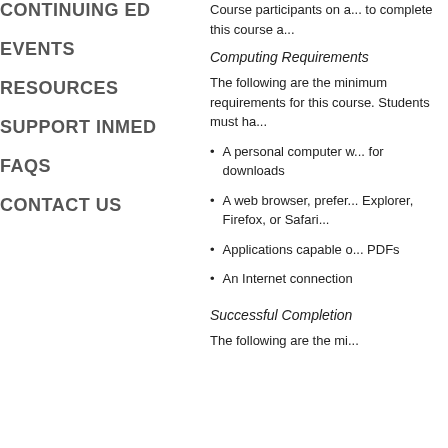CONTINUING ED
EVENTS
RESOURCES
SUPPORT INMED
FAQS
CONTACT US
Course participants on a... to complete this course a...
Computing Requirements
The following are the minimum requirements for this course. Students must ha...
A personal computer with... for downloads
A web browser, preferably Internet Explorer, Firefox, or Safari...
Applications capable of opening PDFs
An Internet connection
Successful Completion
The following are the mi...